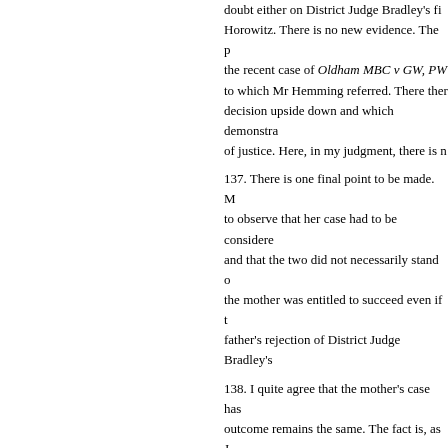doubt either on District Judge Bradley's findings or on Judge Horowitz. There is no new evidence. The position is not the recent case of Oldham MBC v GW, PW to which Mr Hemming referred. There there was a decision upside down and which demonstrates a miscarriage of justice. Here, in my judgment, there is n
137. There is one final point to be made. M to observe that her case had to be considered and that the two did not necessarily stand o the mother was entitled to succeed even if t father's rejection of District Judge Bradley's
138. I quite agree that the mother's case has outcome remains the same. The fact is, as J has chosen to ally herself entirely with the CW from the risk which Judge Horowitz fo threshold findings which relate to the moth father. And for all the reasons I have alread Horowitz was entitled to make and which j The mother's case may be separate from th compelling.
Conclusion
139. This application for permission to app
Keywords:    care proceedings    children